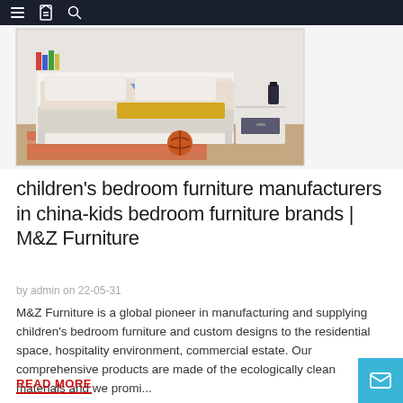Navigation bar with hamburger menu, bookmark icon, and search icon
[Figure (photo): Children's bedroom with a white bed with colorful patterned bedding, yellow throw blanket, white nightstand with dark drawer, books and items on shelf, wooden floor, orange rug, and a basketball on the floor]
children's bedroom furniture manufacturers in china-kids bedroom furniture brands | M&Z Furniture
by admin on 22-05-31
M&Z Furniture is a global pioneer in manufacturing and supplying children's bedroom furniture and custom designs to the residential space, hospitality environment, commercial estate. Our comprehensive products are made of the ecologically clean materials and we promi...
READ MORE